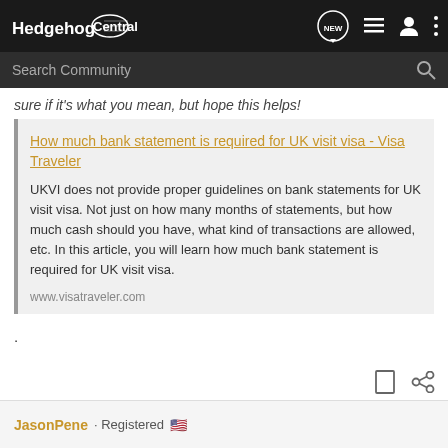Hedgehog Central
sure if it's what you mean, but hope this helps!
How much bank statement is required for UK visit visa - Visa Traveler
UKVI does not provide proper guidelines on bank statements for UK visit visa. Not just on how many months of statements, but how much cash should you have, what kind of transactions are allowed, etc. In this article, you will learn how much bank statement is required for UK visit visa.
www.visatraveler.com
.
JasonPene · Registered